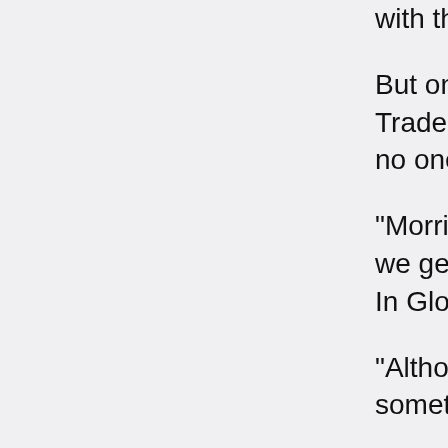with their bums showing!"
But once a meeting between Shaw and the Rough Trade's Geoff Travis, it became clear she would work with no one else.
"Morrissey is an obsessive. He is obsessi probably why we get on so well together. than in a sloppy one. 'Hand In Glove' is re
"Although he doesn't sing himself on the r time. If something wasn't right he would ju know that it's alright.
"I've learnt a lot from being with all of then first started recording, things in the music. But as you become more and more aware to fit circumstances rather than changing
"Doing this has enabled me to regain som Ear Say and acting like an adolescent. Wh or make some girl wish she could look like
Sandie sups and smiles and it's hard not t gatecrashed her way into Adam Faith's dr watching agent and launch herself on a gl